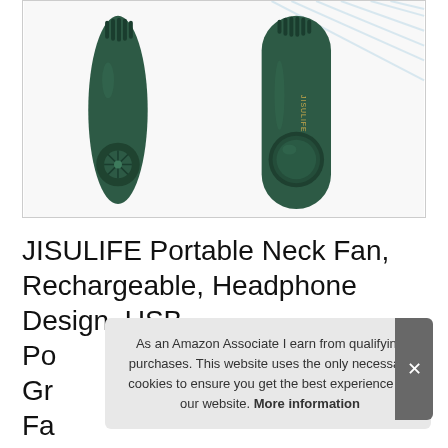[Figure (photo): Product photo of JISULIFE portable neck fan in dark green/teal. Left view shows the fan worn around a neck showing the front with fan vents and small fan blades. Right view shows a close-up of the side arm with a circular button and JISULIFE branding. Light blue diagonal airflow lines in background.]
JISULIFE Portable Neck Fan, Rechargeable, Headphone Design, USB Po Gr Fa Wearable Personal Fan
As an Amazon Associate I earn from qualifying purchases. This website uses the only necessary cookies to ensure you get the best experience on our website. More information